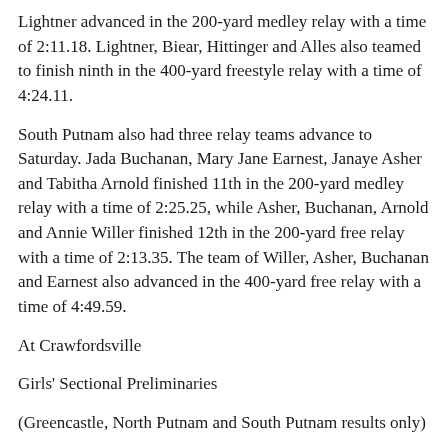Lightner advanced in the 200-yard medley relay with a time of 2:11.18. Lightner, Biear, Hittinger and Alles also teamed to finish ninth in the 400-yard freestyle relay with a time of 4:24.11.
South Putnam also had three relay teams advance to Saturday. Jada Buchanan, Mary Jane Earnest, Janaye Asher and Tabitha Arnold finished 11th in the 200-yard medley relay with a time of 2:25.25, while Asher, Buchanan, Arnold and Annie Willer finished 12th in the 200-yard free relay with a time of 2:13.35. The team of Willer, Asher, Buchanan and Earnest also advanced in the 400-yard free relay with a time of 4:49.59.
At Crawfordsville
Girls' Sectional Preliminaries
(Greencastle, North Putnam and South Putnam results only)
200 medley relay -- 3. Thomas, Moore, Murtagh, Soster (GHS) 1:58.31; 9. Alles, Hittinger, Lightner, Judy (NP) 2:11.18; 11.